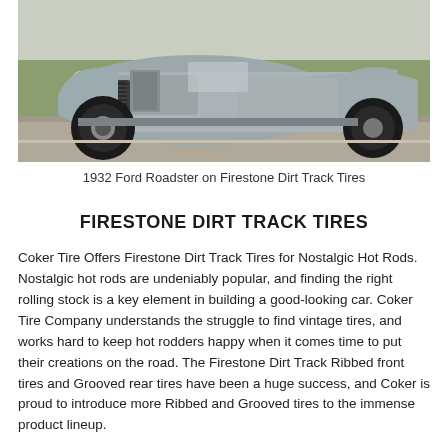[Figure (photo): 1932 Ford Roadster hot rod on Firestone Dirt Track Tires, viewed from front-left angle showing the front grille, exposed engine, large front tires, and open fender design. Car is silver/grey colored, parked on a road with green grass in background.]
1932 Ford Roadster on Firestone Dirt Track Tires
FIRESTONE DIRT TRACK TIRES
Coker Tire Offers Firestone Dirt Track Tires for Nostalgic Hot Rods. Nostalgic hot rods are undeniably popular, and finding the right rolling stock is a key element in building a good-looking car. Coker Tire Company understands the struggle to find vintage tires, and works hard to keep hot rodders happy when it comes time to put their creations on the road. The Firestone Dirt Track Ribbed front tires and Grooved rear tires have been a huge success, and Coker is proud to introduce more Ribbed and Grooved tires to the immense product lineup.